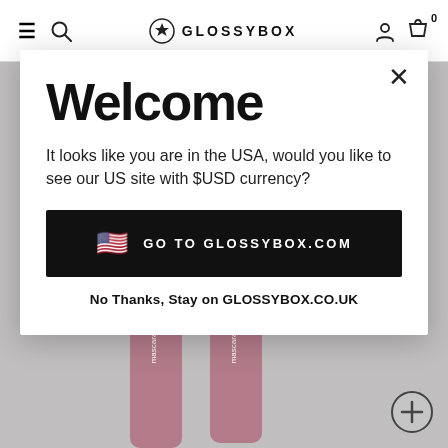GLOSSYBOX navigation bar with hamburger menu, search, logo, user account, and cart (0 items)
[Figure (screenshot): Website screenshot of GLOSSYBOX with a modal dialog overlay on a grey background showing mascara products]
Welcome
It looks like you are in the USA, would you like to see our US site with $USD currency?
GO TO GLOSSYBOX.COM
No Thanks, Stay on GLOSSYBOX.CO.UK